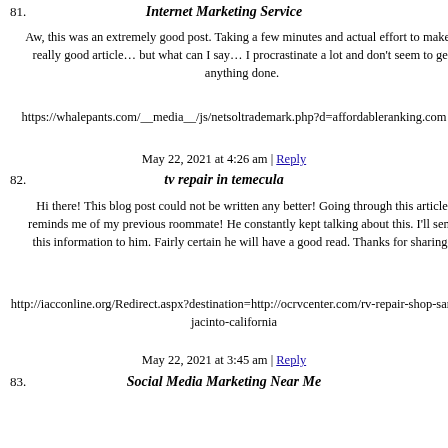81. Internet Marketing Service
Aw, this was an extremely good post. Taking a few minutes and actual effort to make a really good article… but what can I say… I procrastinate a lot and don't seem to get anything done.
https://whalepants.com/__media__/js/netsoltrademark.php?d=affordableranking.com
May 22, 2021 at 4:26 am | Reply
82. tv repair in temecula
Hi there! This blog post could not be written any better! Going through this article reminds me of my previous roommate! He constantly kept talking about this. I'll send this information to him. Fairly certain he will have a good read. Thanks for sharing!
http://iacconline.org/Redirect.aspx?destination=http://ocrvcenter.com/rv-repair-shop-san-jacinto-california
May 22, 2021 at 3:45 am | Reply
83. Social Media Marketing Near Me